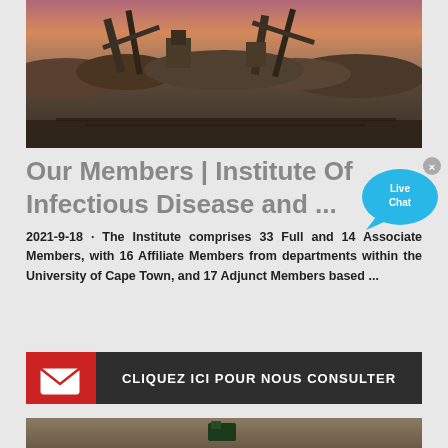[Figure (photo): Industrial mining equipment/machinery on a large mining site with piles of earth, photographed at dusk or dawn with orange/purple sky]
Our Members | Institute Of Infectious Disease and ...
[Figure (illustration): Live Chat bubble icon - cyan/teal speech bubble with 'Live Chat' text and an X close button]
2021-9-18 · The Institute comprises 33 Full and 14 Associate Members, with 16 Affiliate Members from departments within the University of Cape Town, and 17 Adjunct Members based ...
[Figure (infographic): Dark button with red envelope icon on left and white text 'CLIQUEZ ICI POUR NOUS CONSULTER']
[Figure (photo): Outdoor scene at what appears to be a mining or industrial site, partial image cut off at bottom]